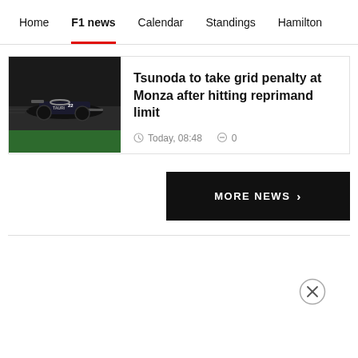Home  F1 news  Calendar  Standings  Hamilton
[Figure (photo): AlphaTauri F1 car on track, dark background with green barrier]
Tsunoda to take grid penalty at Monza after hitting reprimand limit
Today, 08:48   0